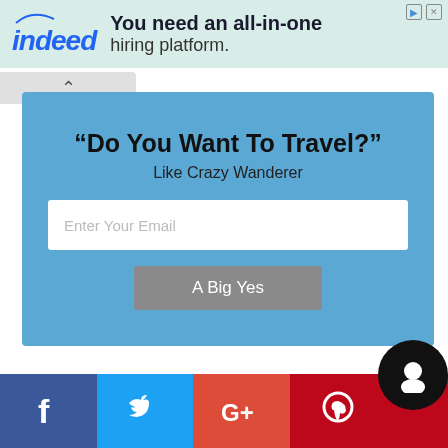[Figure (screenshot): Indeed advertisement banner with logo and text 'You need an all-in-one hiring platform.']
“Do You Want To Travel?”
Like Crazy Wanderer
Enter Your Email
A Big Yes
[Figure (screenshot): Social media sharing bar with Facebook, Twitter, Google+, Pinterest buttons and a chat widget]